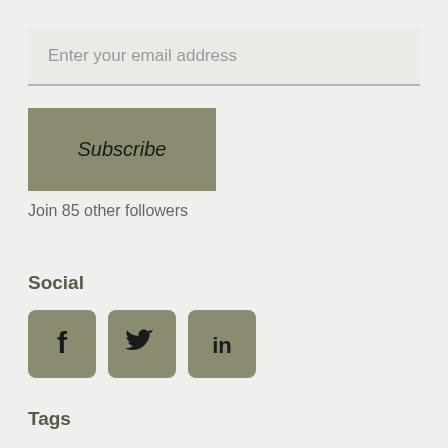Enter your email address
Subscribe
Join 85 other followers
Social
[Figure (infographic): Three social media icon buttons: Facebook (f), Twitter (bird), LinkedIn (in), styled in olive/khaki color with rounded corners]
Tags